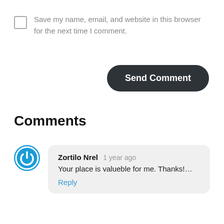Save my name, email, and website in this browser for the next time I comment.
Send Comment
Comments
Zortilo Nrel 1 year ago
Your place is valueble for me. Thanks!…
Reply